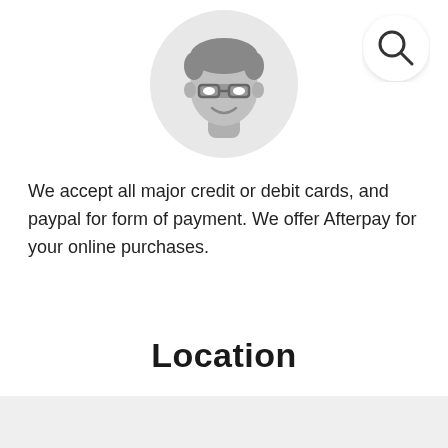[Figure (illustration): Gray circular avatar icon showing a cartoon male face with glasses and dark hair]
[Figure (illustration): Search icon (magnifying glass) in a white circle with subtle shadow, top-right corner]
We accept all major credit or debit cards, and paypal for form of payment. We offer Afterpay for your online purchases.
Location
[Figure (map): Light gray map placeholder area at the bottom of the page]